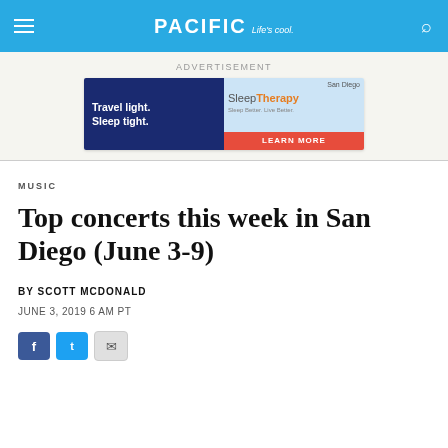PACIFIC Life's cool.
[Figure (other): Advertisement banner: San Diego Sleep Therapy - Travel light. Sleep tight. Learn More.]
ADVERTISEMENT
MUSIC
Top concerts this week in San Diego (June 3-9)
BY SCOTT MCDONALD
JUNE 3, 2019 6 AM PT